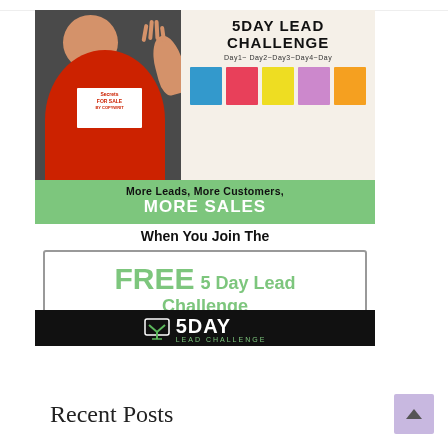[Figure (illustration): 5 Day Lead Challenge advertisement banner showing a man in a red shirt waving next to a whiteboard with sticky notes, with green banner text 'More Leads, More Customers, MORE SALES When You Join The FREE 5 Day Lead Challenge' and a black logo bar at bottom]
Recent Posts